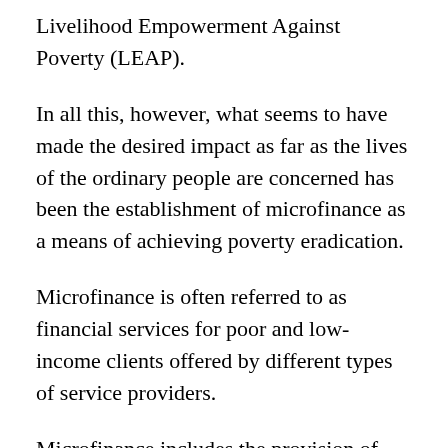Livelihood Empowerment Against Poverty (LEAP).
In all this, however, what seems to have made the desired impact as far as the lives of the ordinary people are concerned has been the establishment of microfinance as a means of achieving poverty eradication.
Microfinance is often referred to as financial services for poor and low-income clients offered by different types of service providers.
Microfinance includes the provision of financial services and the management of small amounts of money through a range of products and a